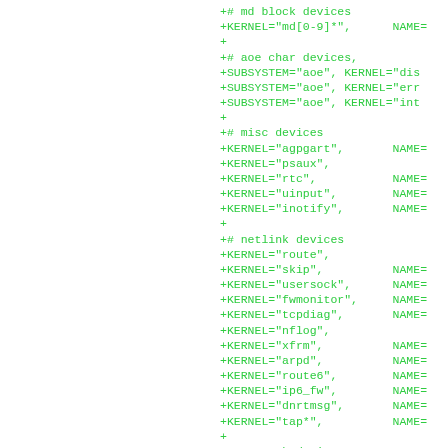+# md block devices
+KERNEL="md[0-9]*",      NAME=
+
+# aoe char devices,
+SUBSYSTEM="aoe", KERNEL="dis
+SUBSYSTEM="aoe", KERNEL="err
+SUBSYSTEM="aoe", KERNEL="int
+
+# misc devices
+KERNEL="agpgart",      NAME=
+KERNEL="psaux",
+KERNEL="rtc",          NAME=
+KERNEL="uinput",       NAME=
+KERNEL="inotify",      NAME=
+
+# netlink devices
+KERNEL="route",
+KERNEL="skip",         NAME=
+KERNEL="usersock",     NAME=
+KERNEL="fwmonitor",    NAME=
+KERNEL="tcpdiag",      NAME=
+KERNEL="nflog",
+KERNEL="xfrm",         NAME=
+KERNEL="arpd",         NAME=
+KERNEL="route6",       NAME=
+KERNEL="ip6_fw",       NAME=
+KERNEL="dnrtmsg",      NAME=
+KERNEL="tap*",         NAME=
+
+# network devices
+KERNEL="tun",          NAME=
+